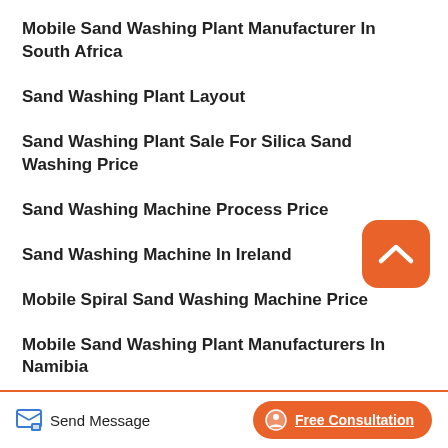Mobile Sand Washing Plant Manufacturer In South Africa
Sand Washing Plant Layout
Sand Washing Plant Sale For Silica Sand Washing Price
Sand Washing Machine Process Price
Sand Washing Machine In Ireland
Mobile Spiral Sand Washing Machine Price
Mobile Sand Washing Plant Manufacturers In Namibia
[Figure (other): Orange rounded square scroll-to-top button with upward chevron arrow icon]
Send Message
Free Consultation